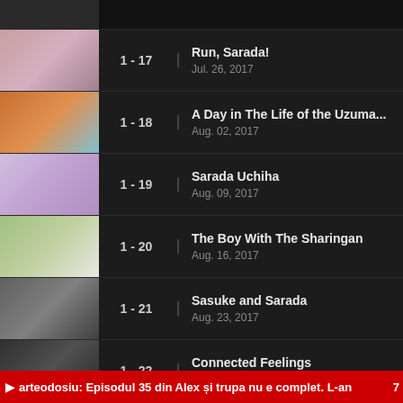1 - 17 | Run, Sarada! | Jul. 26, 2017
1 - 18 | A Day in The Life of the Uzuma... | Aug. 02, 2017
1 - 19 | Sarada Uchiha | Aug. 09, 2017
1 - 20 | The Boy With The Sharingan | Aug. 16, 2017
1 - 21 | Sasuke and Sarada | Aug. 23, 2017
1 - 22 | Connected Feelings | Aug. 30, 2017
arteodosiu: Episodul 35 din Alex și trupa nu e complet. L-an 7